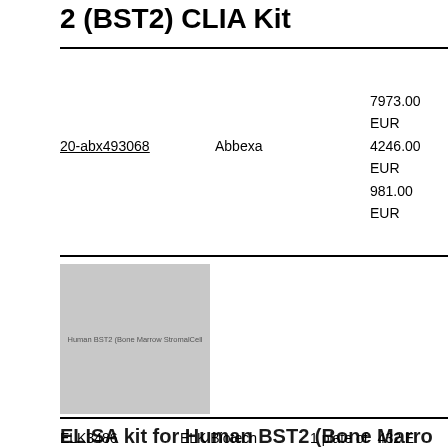2 (BST2) CLIA Kit
| ID | Supplier | Price | Details |
| --- | --- | --- | --- |
| 20-abx493068 | Abbexa | 7973.00 EUR
4246.00 EUR
981.00 EUR | 10...
96 te
5
te
96
te |
[Figure (photo): Product image placeholder for Human BST2 Bone Marrow Stromal Cell Antigen 2 ELISA kit]
ELISA kit for Human BST2 (Bone Marrow Stromal Cell Antigen 2)
| ID | Supplier | Size | Price |
| --- | --- | --- | --- |
| ELK3486 | ELK Biotech | 1 plate of | 432 E... |